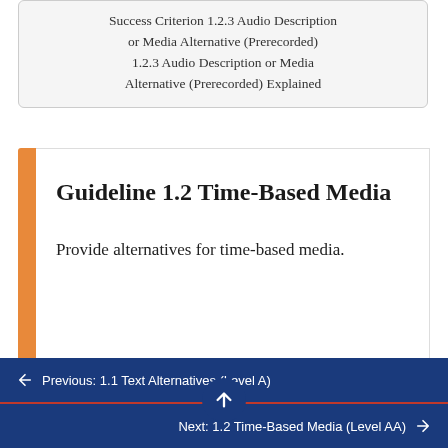Success Criterion 1.2.3 Audio Description or Media Alternative (Prerecorded) 1.2.3 Audio Description or Media Alternative (Prerecorded) Explained
Guideline 1.2 Time-Based Media
Provide alternatives for time-based media.
← Previous: 1.1 Text Alternatives (Level A)
Next: 1.2 Time-Based Media (Level AA) →